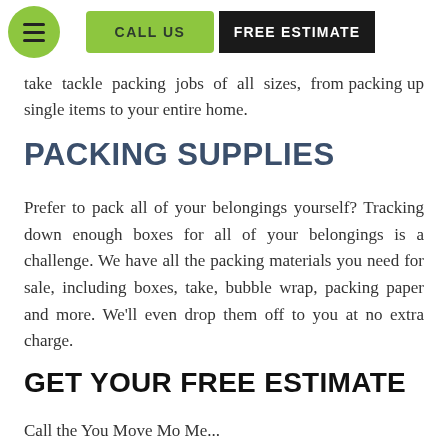CALL US | FREE ESTIMATE
take tackle packing jobs of all sizes, from packing up single items to your entire home.
PACKING SUPPLIES
Prefer to pack all of your belongings yourself? Tracking down enough boxes for all of your belongings is a challenge. We have all the packing materials you need for sale, including boxes, take, bubble wrap, packing paper and more. We'll even drop them off to you at no extra charge.
GET YOUR FREE ESTIMATE
Call the You Move Me Mo...